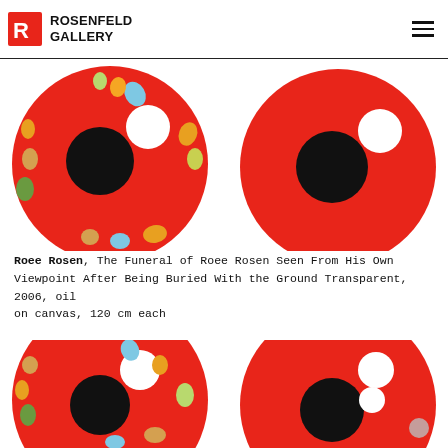ROSENFELD GALLERY
[Figure (photo): Two circular paintings on white background. Left: red circle with illustrated cartoon figures around black center hole and white circle. Right: plain red circle with black center hole and white circle. Top row.]
Roee Rosen, The Funeral of Roee Rosen Seen From His Own Viewpoint After Being Buried With the Ground Transparent, 2006, oil on canvas, 120 cm each
[Figure (photo): Two circular paintings on white background. Left: red circle with illustrated cartoon figures around black center hole and white circle. Right: plain red circle with black center hole and two white circles. Bottom row.]